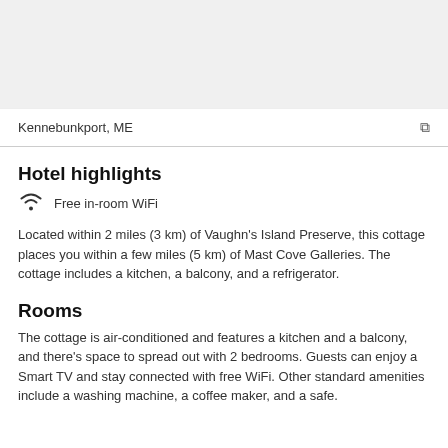[Figure (photo): Gray placeholder image area at the top of the page]
Kennebunkport, ME
Hotel highlights
Free in-room WiFi
Located within 2 miles (3 km) of Vaughn's Island Preserve, this cottage places you within a few miles (5 km) of Mast Cove Galleries. The cottage includes a kitchen, a balcony, and a refrigerator.
Rooms
The cottage is air-conditioned and features a kitchen and a balcony, and there's space to spread out with 2 bedrooms. Guests can enjoy a Smart TV and stay connected with free WiFi. Other standard amenities include a washing machine, a coffee maker, and a safe.